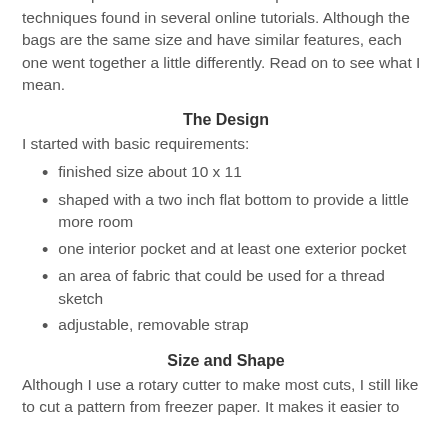these bags, including adapting features and recovering from unexpected results!   I used new products and altered techniques found in several online tutorials.  Although the bags are the same size and have similar features, each one went together a little differently.  Read on to see what I mean.
The Design
I started with basic requirements:
finished size about 10 x 11
shaped with a two inch flat bottom to provide a little more room
one interior pocket and at least one exterior pocket
an area of fabric that could be used for a thread sketch
adjustable, removable strap
Size and Shape
Although I use a rotary cutter to make most cuts, I still like to cut a pattern from freezer paper.  It makes it easier to